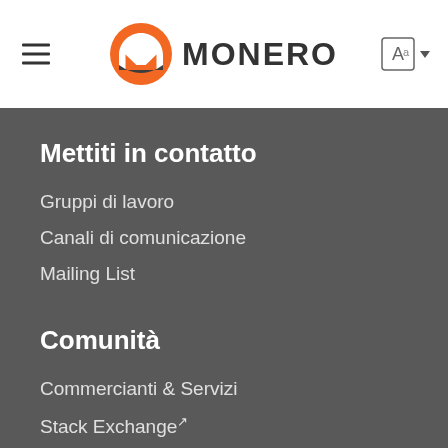MONERO
Mettiti in contatto
Gruppi di lavoro
Canali di comunicazione
Mailing List
Comunità
Commercianti & Servizi
Stack Exchange
BitcoinTalk
Weblate